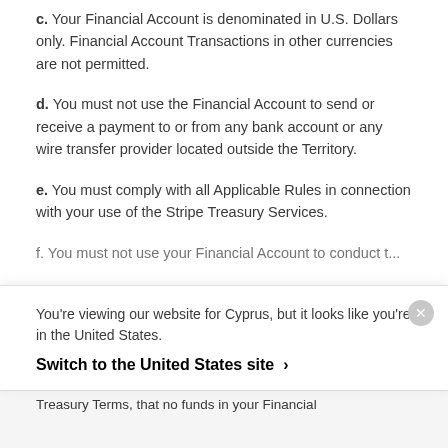c. Your Financial Account is denominated in U.S. Dollars only. Financial Account Transactions in other currencies are not permitted.
d. You must not use the Financial Account to send or receive a payment to or from any bank account or any wire transfer provider located outside the Territory.
e. You must comply with all Applicable Rules in connection with your use of the Stripe Treasury Services.
f. You must not use your Financial Account to conduct...
You're viewing our website for Cyprus, but it looks like you're in the United States.
Switch to the United States site ›
Treasury Terms, that no funds in your Financial